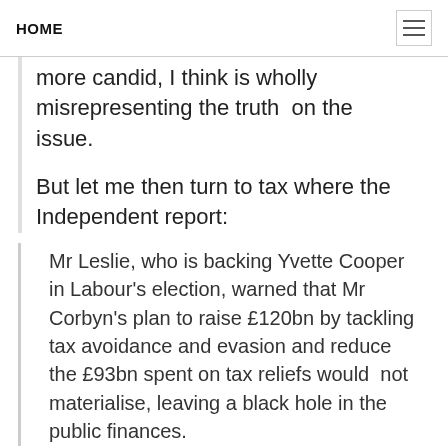HOME
more candid, I think is wholly misrepresenting the truth on the issue.
But let me then turn to tax where the Independent report:
Mr Leslie, who is backing Yvette Cooper in Labour's election, warned that Mr Corbyn's plan to raise £120bn by tackling tax avoidance and evasion and reduce the £93bn spent on tax reliefs would not materialise, leaving a black hole in the public finances.